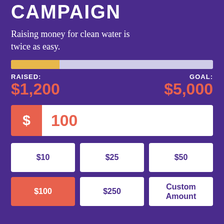CAMPAIGN
Raising money for clean water is twice as easy.
[Figure (infographic): Horizontal progress bar showing fundraising progress. Orange/gold filled portion on the left (~24%) and light gray unfilled portion on the right.]
RAISED: $1,200   GOAL: $5,000
[Figure (infographic): Dollar amount input field with orange dollar sign box on left showing '$' and white input area showing '100' in orange text.]
$10
$25
$50
$100
$250
Custom Amount